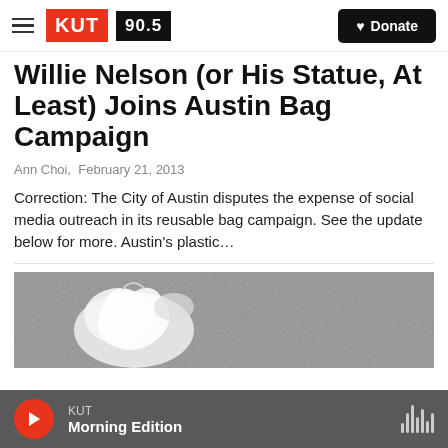KUT 90.5 | Donate
Willie Nelson (or His Statue, At Least) Joins Austin Bag Campaign
Ann Choi,  February 21, 2013
Correction: The City of Austin disputes the expense of social media outreach in its reusable bag campaign. See the update below for more. Austin's plastic…
[Figure (photo): Grayscale photo showing a white plastic bag against a textured dark surface]
KUT | Morning Edition